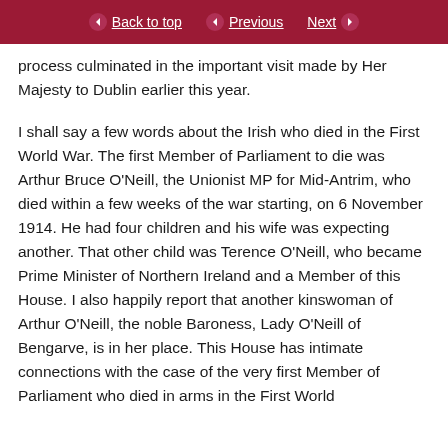Back to top | Previous | Next
process culminated in the important visit made by Her Majesty to Dublin earlier this year.

I shall say a few words about the Irish who died in the First World War. The first Member of Parliament to die was Arthur Bruce O’Neill, the Unionist MP for Mid-Antrim, who died within a few weeks of the war starting, on 6 November 1914. He had four children and his wife was expecting another. That other child was Terence O’Neill, who became Prime Minister of Northern Ireland and a Member of this House. I also happily report that another kinswoman of Arthur O’Neill, the noble Baroness, Lady O’Neill of Bengarve, is in her place. This House has intimate connections with the case of the very first Member of Parliament who died in arms in the First World